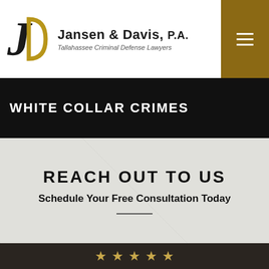[Figure (logo): Jansen & Davis P.A. law firm logo with stylized J and D lettermark]
WHITE COLLAR CRIMES
REACH OUT TO US
Schedule Your Free Consultation Today
[Figure (other): Five gold stars rating at bottom of page]